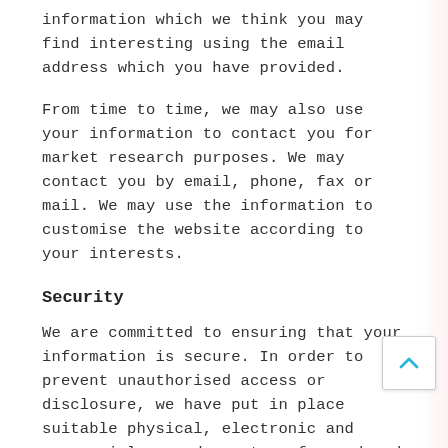information which we think you may find interesting using the email address which you have provided.
From time to time, we may also use your information to contact you for market research purposes. We may contact you by email, phone, fax or mail. We may use the information to customise the website according to your interests.
Security
We are committed to ensuring that your information is secure. In order to prevent unauthorised access or disclosure, we have put in place suitable physical, electronic and managerial procedures to safeguard and secure the information we